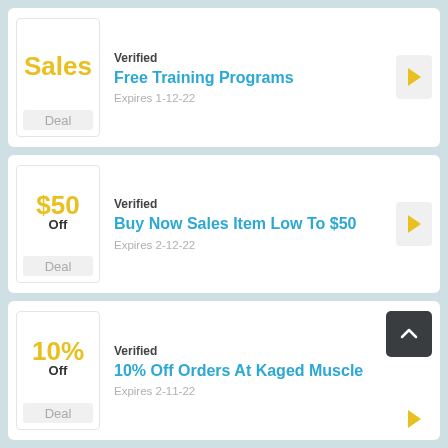Verified | Free Training Programs | Expires 1-12-22 | Sales | Deal
Verified | Buy Now Sales Item Low To $50 | Expires 2-12-22 | $50 Off | Deal
Verified | 10% Off Orders At Kaged Muscle | Expires 2-11-22 | 10% Off | Deal